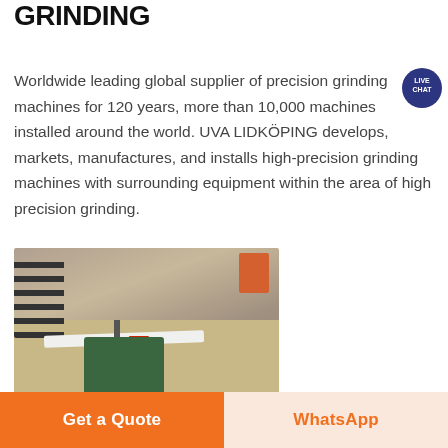GRINDING
Worldwide leading global supplier of precision grinding machines for 120 years, more than 10,000 machines installed around the world. UVA LIDKÖPING develops, markets, manufactures, and installs high-precision grinding machines with surrounding equipment within the area of high precision grinding.
[Figure (photo): Photo of a large flat grinding stone/workpiece mounted on a green grinding machine, taken inside an industrial facility with a concrete floor. Dark rail-shaped items visible in the background left, orange object in background right.]
Get a Quote
WhatsApp